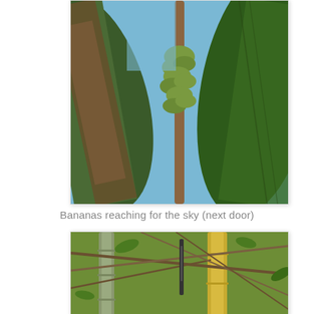[Figure (photo): Upward-looking photo of banana tree with green banana bunches hanging from a central stalk, flanked by large green banana leaves and blue sky in background]
Bananas reaching for the sky (next door)
[Figure (photo): Upward-looking photo of bamboo stalks with green and yellow coloring, surrounded by branches and green foliage, with a thermometer or measuring instrument visible]